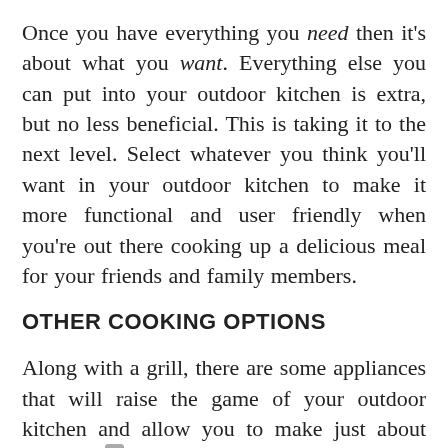Once you have everything you need then it's about what you want. Everything else you can put into your outdoor kitchen is extra, but no less beneficial. This is taking it to the next level. Select whatever you think you'll want in your outdoor kitchen to make it more functional and user friendly when you're out there cooking up a delicious meal for your friends and family members.
OTHER COOKING OPTIONS
Along with a grill, there are some appliances that will raise the game of your outdoor kitchen and allow you to make just about everything for your guests.